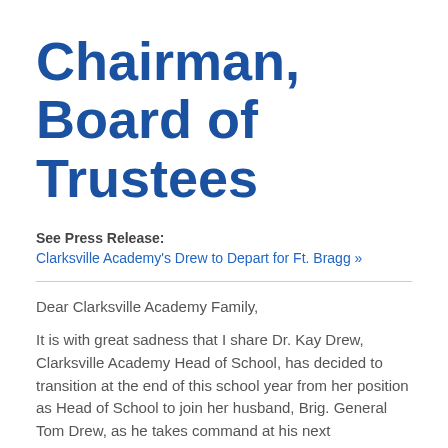Chairman, Board of Trustees
See Press Release:
Clarksville Academy's Drew to Depart for Ft. Bragg »
Dear Clarksville Academy Family,
It is with great sadness that I share Dr. Kay Drew, Clarksville Academy Head of School, has decided to transition at the end of this school year from her position as Head of School to join her husband, Brig. General Tom Drew, as he takes command at his next assignment. As you all know, Kay holds her family close at heart and due to Tom's military career, the past years